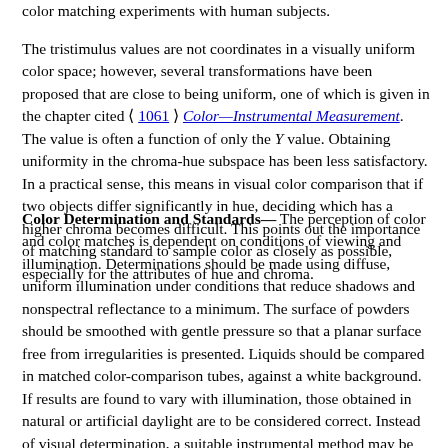color matching experiments with human subjects.
The tristimulus values are not coordinates in a visually uniform color space; however, several transformations have been proposed that are close to being uniform, one of which is given in the chapter cited ⟨ 1061 ⟩ Color—Instrumental Measurement. The value is often a function of only the Y value. Obtaining uniformity in the chroma-hue subspace has been less satisfactory. In a practical sense, this means in visual color comparison that if two objects differ significantly in hue, deciding which has a higher chroma becomes difficult. This points out the importance of matching standard to sample color as closely as possible, especially for the attributes of hue and chroma.
Color Determination and Standards— The perception of color and color matches is dependent on conditions of viewing and illumination. Determinations should be made using diffuse, uniform illumination under conditions that reduce shadows and nonspectral reflectance to a minimum. The surface of powders should be smoothed with gentle pressure so that a planar surface free from irregularities is presented. Liquids should be compared in matched color-comparison tubes, against a white background. If results are found to vary with illumination, those obtained in natural or artificial daylight are to be considered correct. Instead of visual determination, a suitable instrumental method may be